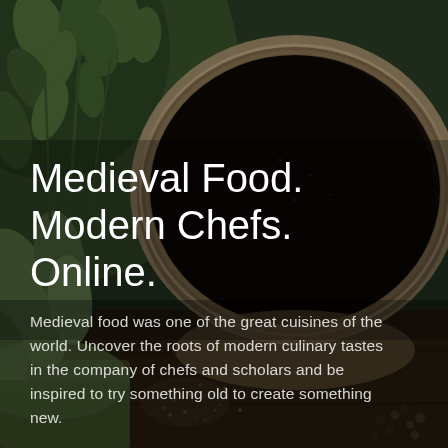[Figure (photo): Dark moody photograph of fresh herbs (parsley, sage), a ceramic bowl filled with dark liquid or spices, and scattered seeds/peppercorns on a wooden surface. Dark green and brown tones.]
Medieval Food. Modern Chefs. Online.
Medieval food was one of the great cuisines of the world. Uncover the roots of modern culinary tastes in the company of chefs and scholars and be inspired to try something old to create something new.